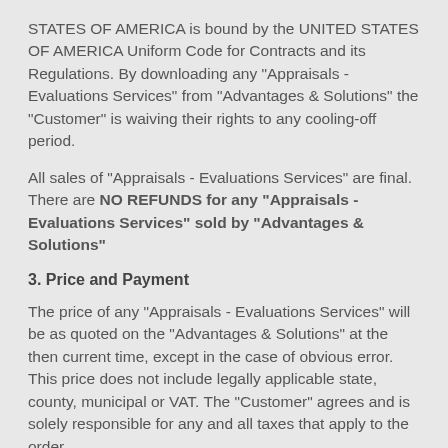STATES OF AMERICA is bound by the UNITED STATES OF AMERICA Uniform Code for Contracts and its Regulations. By downloading any "Appraisals - Evaluations Services" from "Advantages & Solutions" the "Customer" is waiving their rights to any cooling-off period.
All sales of "Appraisals - Evaluations Services" are final. There are NO REFUNDS for any "Appraisals - Evaluations Services" sold by "Advantages & Solutions"
3. Price and Payment
The price of any "Appraisals - Evaluations Services" will be as quoted on the "Advantages & Solutions" at the then current time, except in the case of obvious error. This price does not include legally applicable state, county, municipal or VAT. The "Customer" agrees and is solely responsible for any and all taxes that apply to the order.